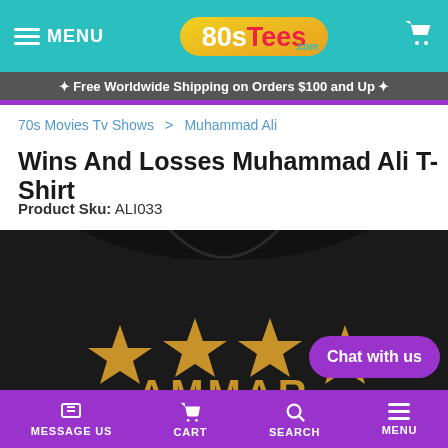MENU | 80sTees.com | Cart
✦ Free Worldwide Shipping on Orders $100 and Up ✦
70s Movies Tv Shows > Muhammad Ali
Wins And Losses Muhammad Ali T-Shirt
Product Sku: ALI033
[Figure (photo): Black t-shirt with gold stars and partial text 'AMMAR' visible on the chest area]
MESSAGE US | CART | SEARCH | MENU